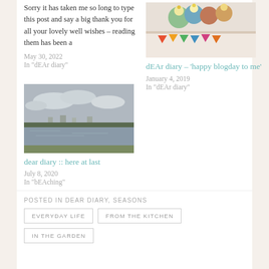Sorry it has taken me so long to type this post and say a big thank you for all your lovely well wishes – reading them has been a
May 30, 2022
In "dEAr diary"
[Figure (photo): Photo of cupcakes and colorful mugs on a table]
dEAr diary – 'happy blogday to me'
January 4, 2019
In "dEAr diary"
[Figure (photo): Photo of a calm bay or lake with houses visible on the far shore under a cloudy sky]
dear diary :: here at last
July 8, 2020
In "bEAching"
POSTED IN DEAR DIARY, SEASONS
EVERYDAY LIFE
FROM THE KITCHEN
IN THE GARDEN